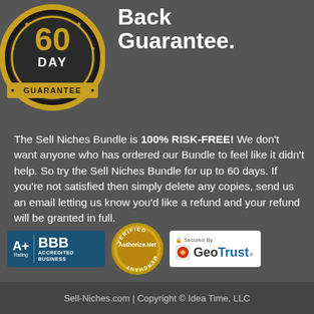[Figure (illustration): 60 Day Guarantee gold and black medal badge]
Back Guarantee.
The Sell Niches Bundle is 100% RISK-FREE! We don't want anyone who has ordered our Bundle to feel like it didn't help. So try the Sell Niches Bundle for up to 60 days. If you're not satisfied then simply delete any copies, send us an email letting us know you'd like a refund and your refund will be granted in full.
[Figure (logo): BBB A+ Accredited Business badge, Authorize.Net Verified Merchant badge, GeoTrust Secured By badge]
Sell-Niches.com | Copyright © Idea Time, LLC